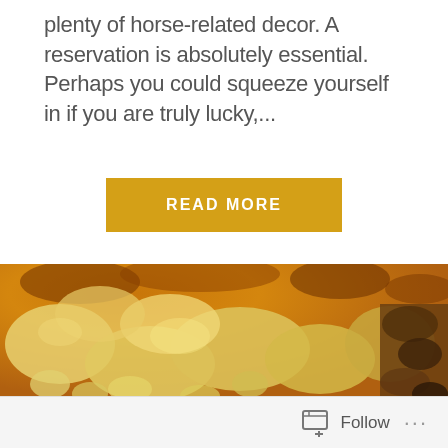plenty of horse-related decor. A reservation is absolutely essential. Perhaps you could squeeze yourself in if you are truly lucky,...
READ MORE
[Figure (photo): Close-up photo of baked macaroni and cheese with a golden-brown crust, showing creamy pasta with melted cheese.]
Follow ...